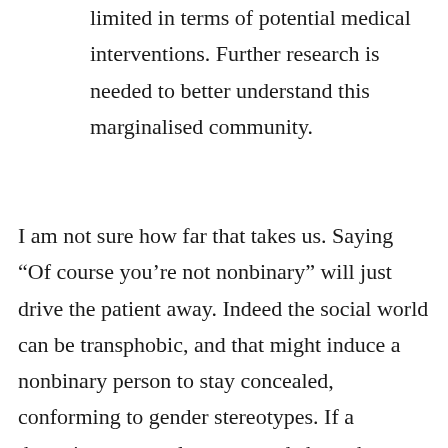social world that can be transphobic and limited in terms of potential medical interventions. Further research is needed to better understand this marginalised community.
I am not sure how far that takes us. Saying “Of course you’re not nonbinary” will just drive the patient away. Indeed the social world can be transphobic, and that might induce a nonbinary person to stay concealed, conforming to gender stereotypes. If a therapist was overly concerned about the transphobia of society, she might discourage a patient from transition.